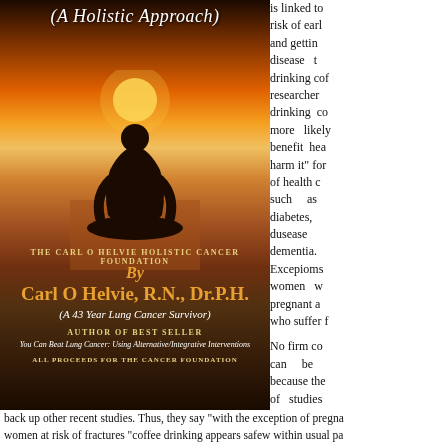[Figure (illustration): Book cover for a holistic cancer book by Carl O Helvie, R.N., Dr.P.H. Shows a meditating silhouette against a sunset over water. Title reads '(A Holistic Approach)'. Author is identified as a 43 Year Lung Cancer Survivor. Published by The Carl O Helvie Holistic Cancer Foundation.]
is linked to risk of early and getting disease t drinking co researcher drinking co more likely benefit hea harm it" for of health c such as diabetes, dusease dementia. Excepioms women w pregnant a who suffer f
No firm co can be because the of studies observationa
back up other recent studies. Thus, they say "with the exception of pregna women at risk of fractures "coffee drinking appears safew within usual pa